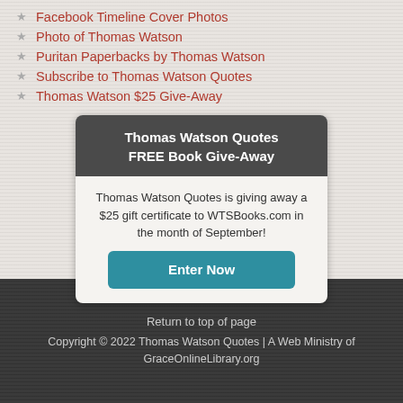Facebook Timeline Cover Photos
Photo of Thomas Watson
Puritan Paperbacks by Thomas Watson
Subscribe to Thomas Watson Quotes
Thomas Watson $25 Give-Away
[Figure (infographic): Dark grey card with header 'Thomas Watson Quotes FREE Book Give-Away', body text describing a $25 gift certificate giveaway to WTSBooks.com in September, and a teal 'Enter Now' button.]
Thomas Watson Quotes is giving away a $25 gift certificate to WTSBooks.com in the month of September!
Return to top of page
Copyright © 2022 Thomas Watson Quotes | A Web Ministry of GraceOnlineLibrary.org